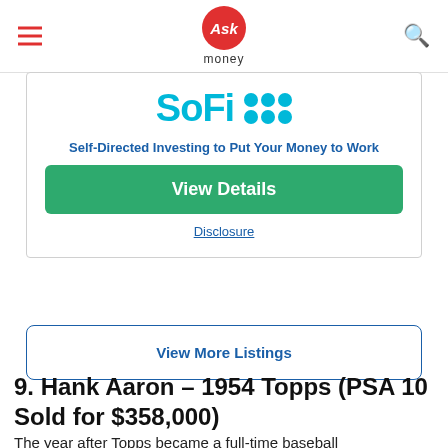Ask money
[Figure (logo): SoFi logo with cyan text and dot grid pattern]
Self-Directed Investing to Put Your Money to Work
View Details
Disclosure
View More Listings
9. Hank Aaron – 1954 Topps (PSA 10 Sold for $358,000)
The year after Topps became a full-time baseball